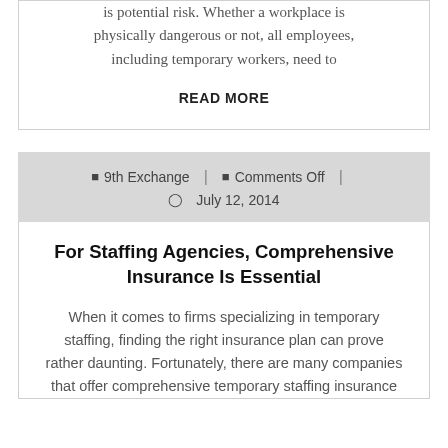is potential risk. Whether a workplace is physically dangerous or not, all employees, including temporary workers, need to
READ MORE
9th Exchange  |  Comments Off  |  July 12, 2014
For Staffing Agencies, Comprehensive Insurance Is Essential
When it comes to firms specializing in temporary staffing, finding the right insurance plan can prove rather daunting. Fortunately, there are many companies that offer comprehensive temporary staffing insurance